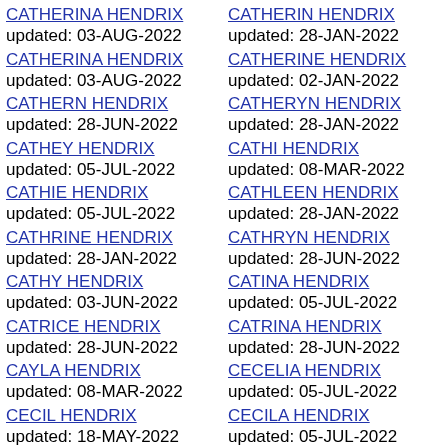CATHERINA HENDRIX
updated: 03-AUG-2022
CATHERIN HENDRIX
updated: 28-JAN-2022
CATHERINA HENDRIX
updated: 03-AUG-2022
CATHERINE HENDRIX
updated: 02-JAN-2022
CATHERN HENDRIX
updated: 28-JUN-2022
CATHERYN HENDRIX
updated: 28-JAN-2022
CATHEY HENDRIX
updated: 05-JUL-2022
CATHI HENDRIX
updated: 08-MAR-2022
CATHIE HENDRIX
updated: 05-JUL-2022
CATHLEEN HENDRIX
updated: 28-JAN-2022
CATHRINE HENDRIX
updated: 28-JAN-2022
CATHRYN HENDRIX
updated: 28-JUN-2022
CATHY HENDRIX
updated: 03-JUN-2022
CATINA HENDRIX
updated: 05-JUL-2022
CATRICE HENDRIX
updated: 28-JUN-2022
CATRINA HENDRIX
updated: 28-JUN-2022
CAYLA HENDRIX
updated: 08-MAR-2022
CECELIA HENDRIX
updated: 05-JUL-2022
CECIL HENDRIX
updated: 18-MAY-2022
CECILA HENDRIX
updated: 05-JUL-2022